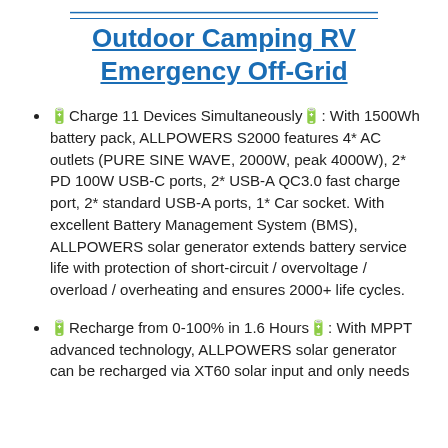Outdoor Camping RV Emergency Off-Grid
🔋Charge 11 Devices Simultaneously🔋: With 1500Wh battery pack, ALLPOWERS S2000 features 4* AC outlets (PURE SINE WAVE, 2000W, peak 4000W), 2* PD 100W USB-C ports, 2* USB-A QC3.0 fast charge port, 2* standard USB-A ports, 1* Car socket. With excellent Battery Management System (BMS), ALLPOWERS solar generator extends battery service life with protection of short-circuit / overvoltage / overload / overheating and ensures 2000+ life cycles.
🔋Recharge from 0-100% in 1.6 Hours🔋: With MPPT advanced technology, ALLPOWERS solar generator can be recharged via XT60 solar input and only needs